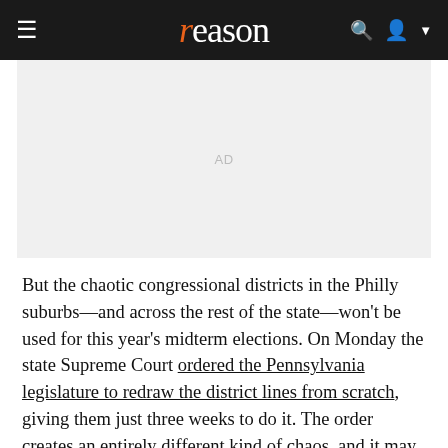reason
[Figure (other): Advertisement placeholder block with 'AD' label on light gray background]
But the chaotic congressional districts in the Philly suburbs—and across the rest of the state—won't be used for this year's midterm elections. On Monday the state Supreme Court ordered the Pennsylvania legislature to redraw the district lines from scratch, giving them just three weeks to do it. The order creates an entirely different kind of chaos, and it may boost Democratic chances in the upcoming